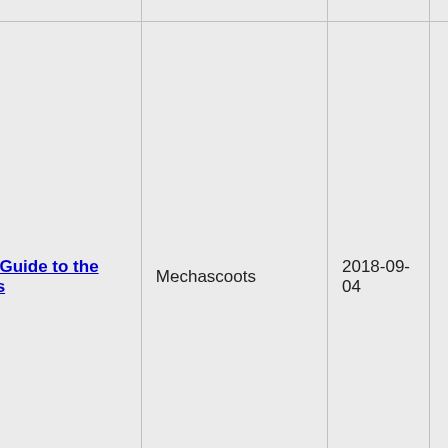| Title | Author | Date | Rating | Num |
| --- | --- | --- | --- | --- |
|  |  |  |  |  |
| Ikras Guide to the Races | Mechascoots | 2018-09-04 | XXX | 29 |
| Bimbo Tournament | Manpooper | 2018-08-19 | XXX | 13 |